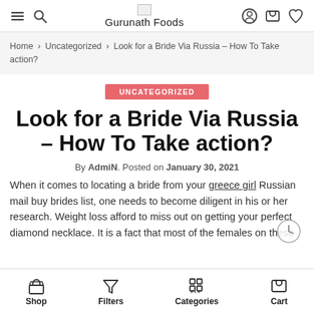Gurunath Foods
Home > Uncategorized > Look for a Bride Via Russia – How To Take action?
UNCATEGORIZED
Look for a Bride Via Russia – How To Take action?
By AdmiN. Posted on January 30, 2021
When it comes to locating a bride from your greece girl Russian mail buy brides list, one needs to become diligent in his or her research. Weight loss afford to miss out on getting your perfect diamond necklace. It is a fact that most of the females on these
Shop  Filters  Categories  Cart